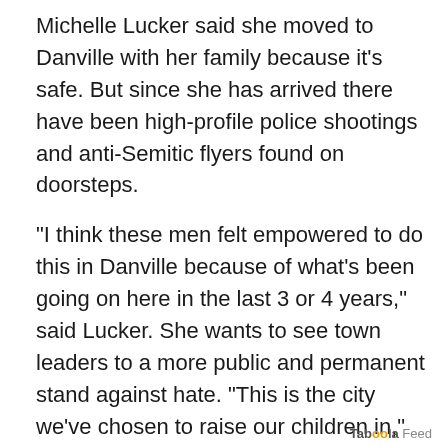Michelle Lucker said she moved to Danville with her family because it's safe. But since she has arrived there have been high-profile police shootings and anti-Semitic flyers found on doorsteps.
"I think these men felt empowered to do this in Danville because of what's been going on here in the last 3 or 4 years," said Lucker. She wants to see town leaders to a more public and permanent stand against hate. "This is the city we've chosen to raise our children in," said Lucker. "We have many friends of color and I can only imagine what those signs felt like to them. I mean it feels violent. It does."
KTVU's Elissa Harrington and Bay City News contributed to this report.
Taboola Feed